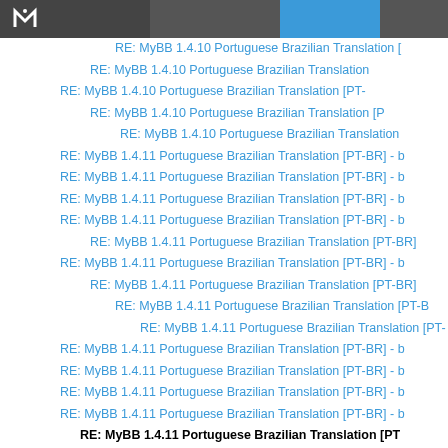MyBB forum page header
RE: MyBB 1.4.10 Portuguese Brazilian Translation [
RE: MyBB 1.4.10 Portuguese Brazilian Translation
RE: MyBB 1.4.10 Portuguese Brazilian Translation [PT-
RE: MyBB 1.4.10 Portuguese Brazilian Translation [P
RE: MyBB 1.4.10 Portuguese Brazilian Translation
RE: MyBB 1.4.11 Portuguese Brazilian Translation [PT-BR] - b
RE: MyBB 1.4.11 Portuguese Brazilian Translation [PT-BR] - b
RE: MyBB 1.4.11 Portuguese Brazilian Translation [PT-BR] - b
RE: MyBB 1.4.11 Portuguese Brazilian Translation [PT-BR] - b
RE: MyBB 1.4.11 Portuguese Brazilian Translation [PT-BR]
RE: MyBB 1.4.11 Portuguese Brazilian Translation [PT-BR] - b
RE: MyBB 1.4.11 Portuguese Brazilian Translation [PT-BR]
RE: MyBB 1.4.11 Portuguese Brazilian Translation [PT-B
RE: MyBB 1.4.11 Portuguese Brazilian Translation [PT-
RE: MyBB 1.4.11 Portuguese Brazilian Translation [PT-BR] - b
RE: MyBB 1.4.11 Portuguese Brazilian Translation [PT-BR] - b
RE: MyBB 1.4.11 Portuguese Brazilian Translation [PT-BR] - b
RE: MyBB 1.4.11 Portuguese Brazilian Translation [PT-BR] - b
RE: MyBB 1.4.11 Portuguese Brazilian Translation [PT
RE: MyBB 1.4.11 Portuguese Brazilian Translation [PT-BR] - b
RE: MyBB 1.4.12 Portuguese Brazilian Translation [PT-BR]